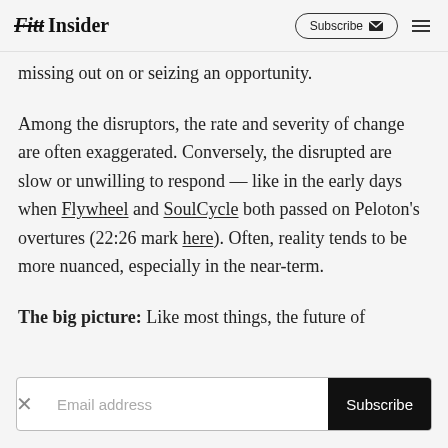Fitt Insider | Subscribe
missing out on or seizing an opportunity.
Among the disruptors, the rate and severity of change are often exaggerated. Conversely, the disrupted are slow or unwilling to respond — like in the early days when Flywheel and SoulCycle both passed on Peloton's overtures (22:26 mark here). Often, reality tends to be more nuanced, especially in the near-term.
The big picture: Like most things, the future of
Email address | Subscribe